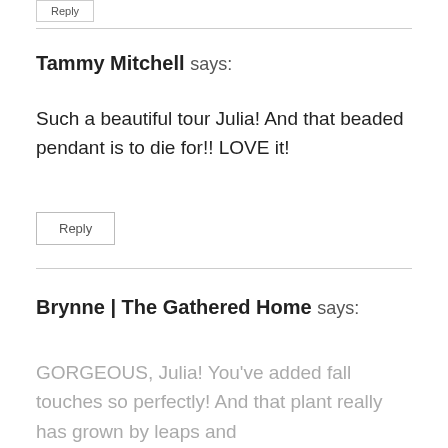[Figure (other): Partial reply button at the top of the page]
Tammy Mitchell says:
Such a beautiful tour Julia! And that beaded pendant is to die for!! LOVE it!
Reply
Brynne | The Gathered Home says:
GORGEOUS, Julia! You've added fall touches so perfectly! And that plant really has grown by leaps and